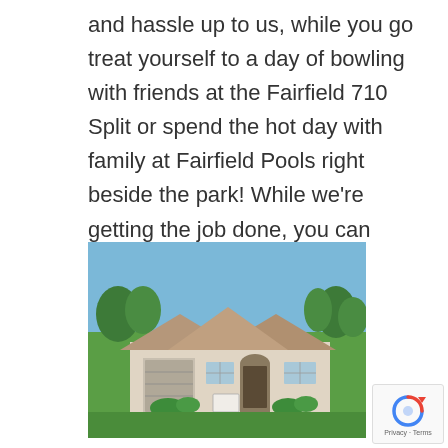and hassle up to us, while you go treat yourself to a day of bowling with friends at the Fairfield 710 Split or spend the hot day with family at Fairfield Pools right beside the park! While we're getting the job done, you can enjoy a day out.
[Figure (photo): A single-story suburban house with beige/tan stucco exterior, brown roof, green lawn, trees in background, blue sky. A sign post is visible in the front yard.]